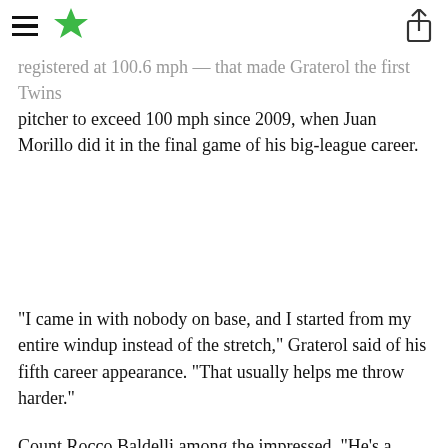[hamburger menu] [star logo] [share icon]
registered at 100.6 mph — that made Graterol the first Twins pitcher to exceed 100 mph since 2009, when Juan Morillo did it in the final game of his big-league career.
“I came in with nobody on base, and I started from my entire windup instead of the stretch,” Graterol said of his fifth career appearance. “That usually helps me throw harder.”
Count Rocco Baldelli among the impressed. “He’s a talented guy. He offers a pretty different look than almost anyone else,” the Twins m                                                                                         nerally what gu